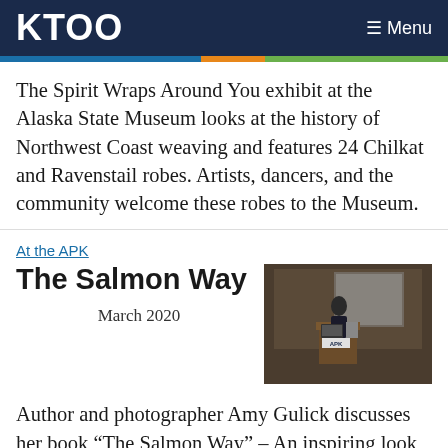KTOO   ≡ Menu
The Spirit Wraps Around You exhibit at the Alaska State Museum looks at the history of Northwest Coast weaving and features 24 Chilkat and Ravenstail robes. Artists, dancers, and the community welcome these robes to the Museum.
At the APK
The Salmon Way
March 2020
[Figure (photo): A woman presenting at a podium with an APK sign, in front of a large screen display in a lecture room.]
Author and photographer Amy Gulick discusses her book "The Salmon Way" – An inspiring look into the lives of Alaskans and salmon and how they